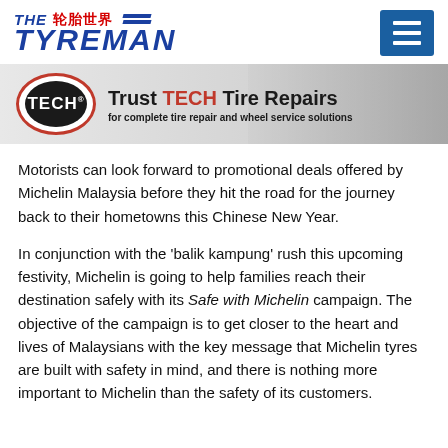[Figure (logo): The Tyreman logo with Chinese characters 轮胎世界 and blue diagonal stripes]
[Figure (illustration): Hamburger menu button, blue square with three white horizontal lines]
[Figure (illustration): TECH brand banner advertisement: Trust TECH Tire Repairs for complete tire repair and wheel service solutions]
Motorists can look forward to promotional deals offered by Michelin Malaysia before they hit the road for the journey back to their hometowns this Chinese New Year.
In conjunction with the 'balik kampung' rush this upcoming festivity, Michelin is going to help families reach their destination safely with its Safe with Michelin campaign. The objective of the campaign is to get closer to the heart and lives of Malaysians with the key message that Michelin tyres are built with safety in mind, and there is nothing more important to Michelin than the safety of its customers.